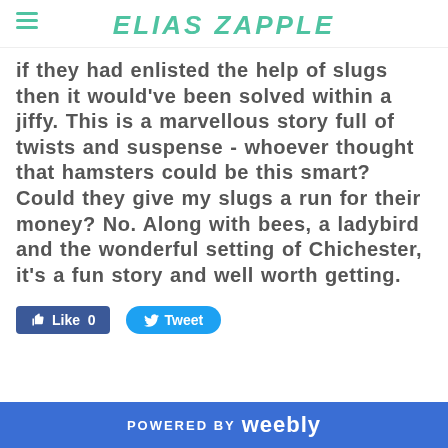ELIAS ZAPPLE
if they had enlisted the help of slugs then it would've been solved within a jiffy. This is a marvellous story full of twists and suspense - whoever thought that hamsters could be this smart? Could they give my slugs a run for their money? No. Along with bees, a ladybird and the wonderful setting of Chichester, it's a fun story and well worth getting.
POWERED BY weebly